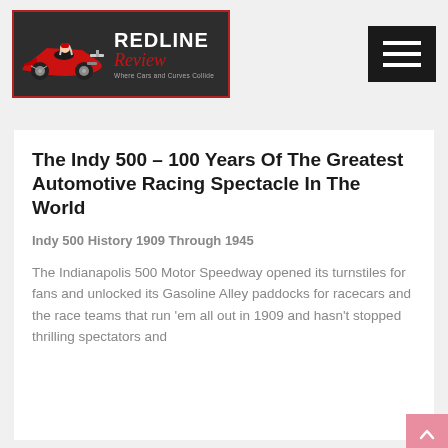[Figure (logo): Redline Review logo: dark background with red border, red racing car illustration on left, 'REDLINE' in white bold text, 'Review' in red italic script, tagline 'Where Cars and Curves Collide' in small grey text]
[Figure (other): Hamburger menu button: black square with three white horizontal lines]
The Indy 500 – 100 Years Of The Greatest Automotive Racing Spectacle In The World
Indy 500 History 1909 Through 1945
The Indianapolis 500 Motor Speedway opened its turnstiles for fans and unlocked its Gasoline Alley paddocks for racecars and the race teams that run 'em all out in 1909 and hasn't stopped thrilling spectators and